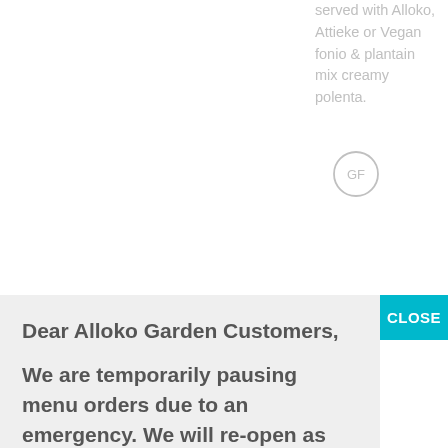served with Alloko, Attieke or Vegan fonio & plantain mix creamy polenta.
[Figure (other): GF (Gluten Free) badge - a circle with the letters GF inside]
Dear Alloko Garden Customers,
We are temporarily pausing menu orders due to an emergency. We will re-open as soon as possible.
Thank you for your patience & support.
TOWREETOS(PRONOUNCED-TO WREE -TOS): Fonio mixed with tomatoes, scallions, cucumbers, microgreens and sautéed tender boneless